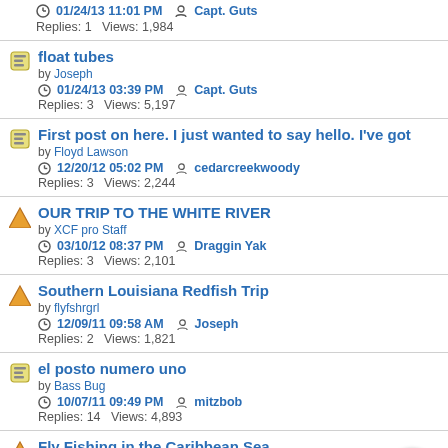by ctexbasser | 01/24/13 11:01 PM | Capt. Guts | Replies: 1 Views: 1,984
float tubes | by Joseph | 01/24/13 03:39 PM | Capt. Guts | Replies: 3 Views: 5,197
First post on here. I just wanted to say hello. I've got | by Floyd Lawson | 12/20/12 05:02 PM | cedarcreekwoody | Replies: 3 Views: 2,244
OUR TRIP TO THE WHITE RIVER | by XCF pro Staff | 03/10/12 08:37 PM | Draggin Yak | Replies: 3 Views: 2,101
Southern Louisiana Redfish Trip | by flyfshrgrl | 12/09/11 09:58 AM | Joseph | Replies: 2 Views: 1,821
el posto numero uno | by Bass Bug | 10/07/11 09:49 PM | mitzbob | Replies: 14 Views: 4,893
Fly Fishing in the Caribbean Sea | by Kevin Big Fish | 09/29/11 06:53 AM | SR025 | Replies: 1 Views: 1,893
Sportsfishing on the Fly!